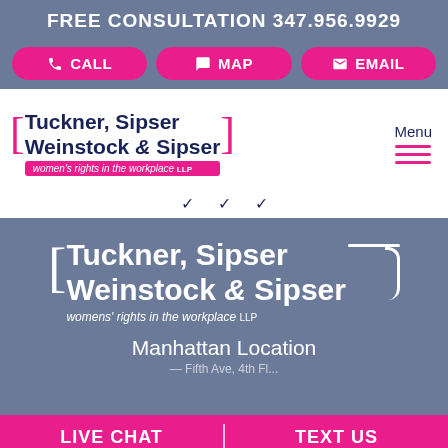FREE CONSULTATION 347.956.9929
CALL | MAP | EMAIL
[Figure (logo): Tuckner, Sipser Weinstock & Sipser LLP - women's rights in the workplace logo (top nav)]
Menu
[Figure (logo): Tuckner, Sipser Weinstock & Sipser LLP - womens' rights in the workplace logo (main body, white on gray)]
Manhattan Location
LIVE CHAT | TEXT US